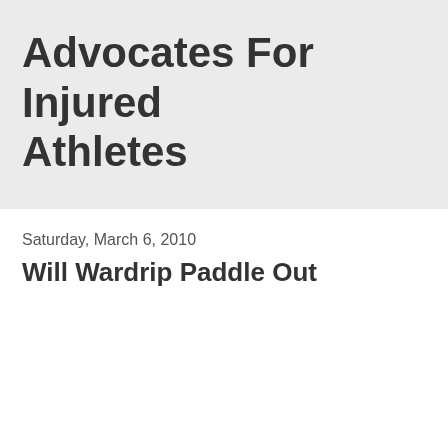Advocates For Injured Athletes
Saturday, March 6, 2010
Will Wardrip Paddle Out